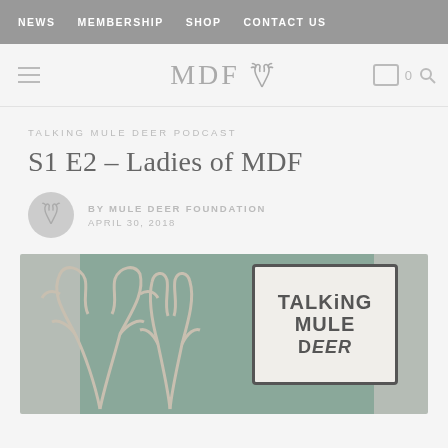NEWS   MEMBERSHIP   SHOP   CONTACT US
[Figure (logo): MDF (Mule Deer Foundation) logo with antler icon, hamburger menu on left, cart icon and search icon on right]
TALKING MULE DEER PODCAST
S1 E2 – Ladies of MDF
BY MULE DEER FOUNDATION
APRIL 30, 2018
[Figure (illustration): Talking Mule Deer Podcast artwork showing antlers illustration on teal/green background with a sign reading 'TALKING MULE DEER' in hand-drawn style lettering]